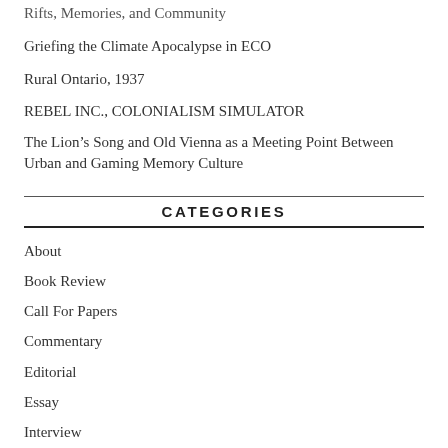Rifts, Memories, and Community
Griefing the Climate Apocalypse in ECO
Rural Ontario, 1937
REBEL INC., COLONIALISM SIMULATOR
The Lion’s Song and Old Vienna as a Meeting Point Between Urban and Gaming Memory Culture
CATEGORIES
About
Book Review
Call For Papers
Commentary
Editorial
Essay
Interview